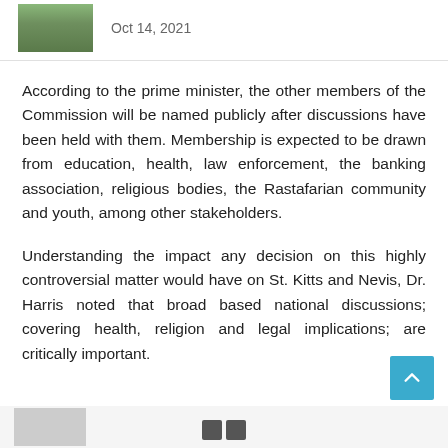Oct 14, 2021
According to the prime minister, the other members of the Commission will be named publicly after discussions have been held with them. Membership is expected to be drawn from education, health, law enforcement, the banking association, religious bodies, the Rastafarian community and youth, among other stakeholders.
Understanding the impact any decision on this highly controversial matter would have on St. Kitts and Nevis, Dr. Harris noted that broad based national discussions; covering health, religion and legal implications; are critically important.